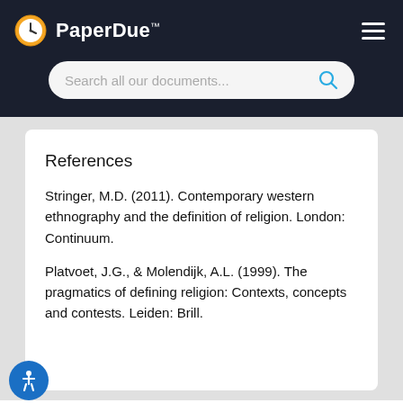PaperDue™
References
Stringer, M.D. (2011). Contemporary western ethnography and the definition of religion. London: Continuum.
Platvoet, J.G., & Molendijk, A.L. (1999). The pragmatics of defining religion: Contexts, concepts and contests. Leiden: Brill.